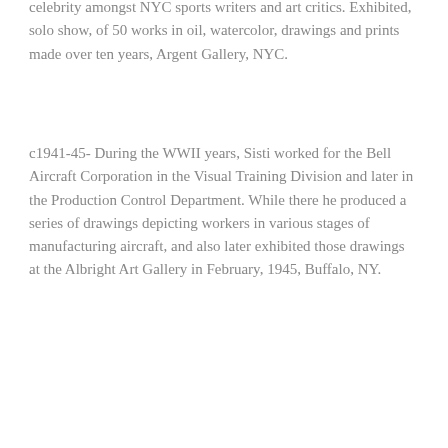celebrity amongst NYC sports writers and art critics. Exhibited, solo show, of 50 works in oil, watercolor, drawings and prints made over ten years, Argent Gallery, NYC.
c1941-45- During the WWII years, Sisti worked for the Bell Aircraft Corporation in the Visual Training Division and later in the Production Control Department. While there he produced a series of drawings depicting workers in various stages of manufacturing aircraft, and also later exhibited those drawings at the Albright Art Gallery in February, 1945, Buffalo, NY.